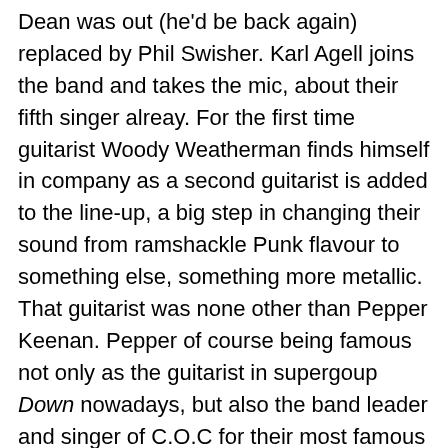Dean was out (he'd be back again) replaced by Phil Swisher. Karl Agell joins the band and takes the mic, about their fifth singer alreay. For the first time guitarist Woody Weatherman finds himself in company as a second guitarist is added to the line-up, a big step in changing their sound from ramshackle Punk flavour to something else, something more metallic. That guitarist was none other than Pepper Keenan. Pepper of course being famous not only as the guitarist in supergoup Down nowadays, but also the band leader and singer of C.O.C for their most famous and beloved work in the '90s.
Well, all that history and line-up information is